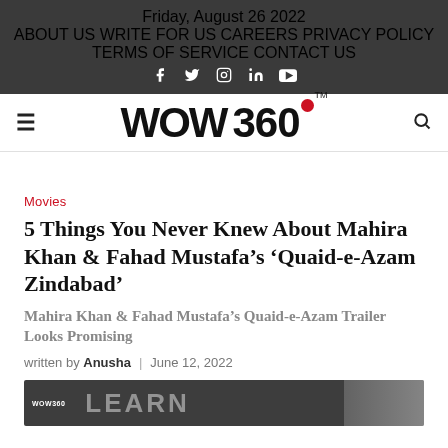Friday, August 26 2022
ABOUT US | WRITE FOR US | CAREERS | PRIVACY POLICY | TERMS OF SERVICE | CONTACT US
WOW 360
Movies
5 Things You Never Knew About Mahira Khan & Fahad Mustafa's 'Quaid-e-Azam Zindabad'
Mahira Khan & Fahad Mustafa's Quaid-e-Azam Trailer Looks Promising
written by Anusha | June 12, 2022
[Figure (screenshot): Thumbnail strip at the bottom showing WOW 360 logo and partial article image]